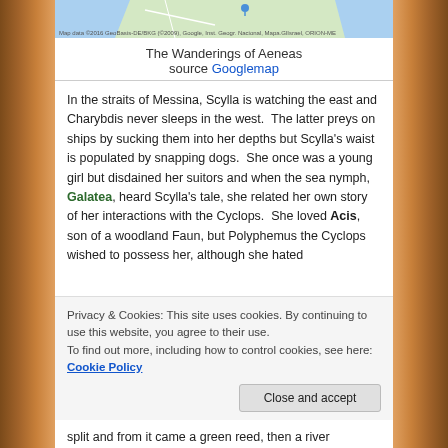[Figure (map): Partial view of a Google Map showing the region around the Straits of Messina, with map attribution text at the bottom.]
The Wanderings of Aeneas
source Googlemap
In the straits of Messina, Scylla is watching the east and Charybdis never sleeps in the west. The latter preys on ships by sucking them into her depths but Scylla's waist is populated by snapping dogs. She once was a young girl but disdained her suitors and when the sea nymph, Galatea, heard Scylla's tale, she related her own story of her interactions with the Cyclops. She loved Acis, son of a woodland Faun, but Polyphemus the Cyclops wished to possess her, although she hated
Privacy & Cookies: This site uses cookies. By continuing to use this website, you agree to their use.
To find out more, including how to control cookies, see here: Cookie Policy
split and from it came a green reed, then a river